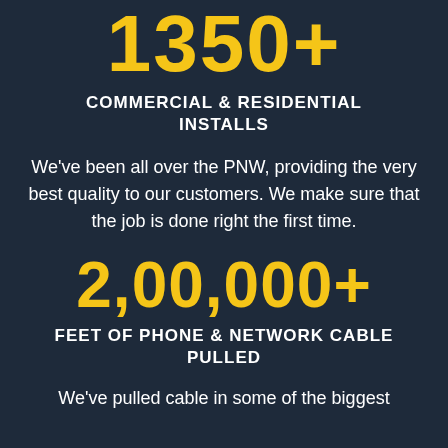1350+
COMMERCIAL & RESIDENTIAL INSTALLS
We’ve been all over the PNW, providing the very best quality to our customers. We make sure that the job is done right the first time.
2,00,000+
FEET OF PHONE & NETWORK CABLE PULLED
We’ve pulled cable in some of the biggest